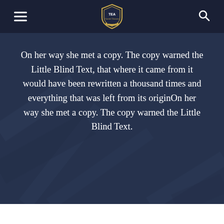TEA Academy navigation header with hamburger menu, TEA Academy logo, and search icon
On her way she met a copy. The copy warned the Little Blind Text, that where it came from it would have been rewritten a thousand times and everything that was left from its originOn her way she met a copy. The copy warned the Little Blind Text.